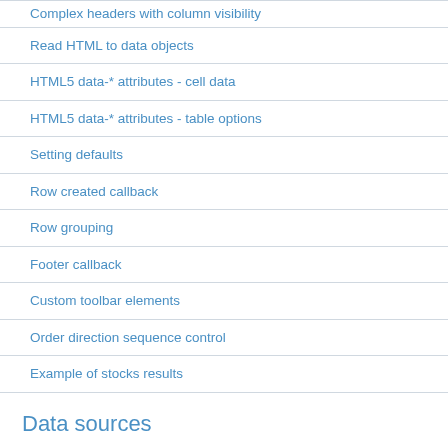Complex headers with column visibility
Read HTML to data objects
HTML5 data-* attributes - cell data
HTML5 data-* attributes - table options
Setting defaults
Row created callback
Row grouping
Footer callback
Custom toolbar elements
Order direction sequence control
Example of stocks results
Data sources
HTML (DOM) sourced data
Ajax sourced data
Javascript sourced data
Server side processing